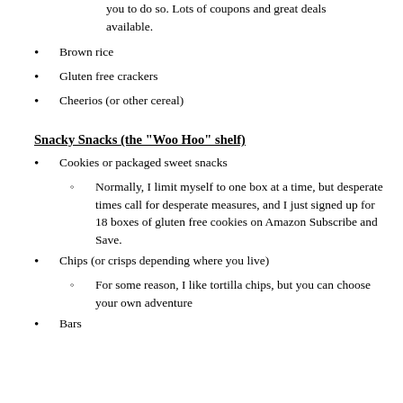you to do so. Lots of coupons and great deals available.
Brown rice
Gluten free crackers
Cheerios (or other cereal)
Snacky Snacks (the "Woo Hoo" shelf)
Cookies or packaged sweet snacks
Normally, I limit myself to one box at a time, but desperate times call for desperate measures, and I just signed up for 18 boxes of gluten free cookies on Amazon Subscribe and Save.
Chips (or crisps depending where you live)
For some reason, I like tortilla chips, but you can choose your own adventure
Bars